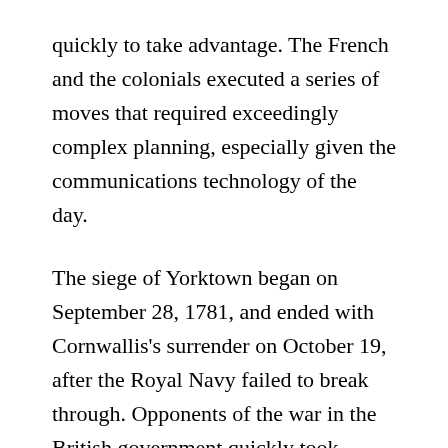quickly to take advantage. The French and the colonials executed a series of moves that required exceedingly complex planning, especially given the communications technology of the day.
The siege of Yorktown began on September 28, 1781, and ended with Cornwallis's surrender on October 19, after the Royal Navy failed to break through. Opponents of the war in the British government quickly took advantage of Cornwallis' defeat, and peace negotiations soon ensued.